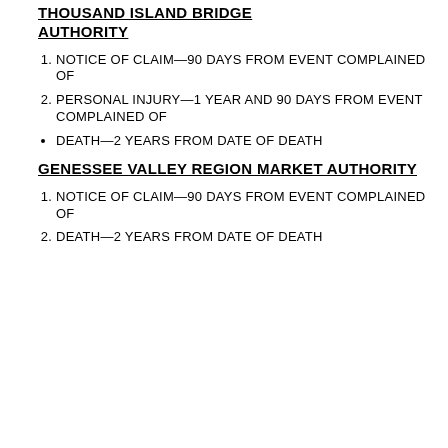THOUSAND ISLAND BRIDGE AUTHORITY
NOTICE OF CLAIM—90 DAYS FROM EVENT COMPLAINED OF
PERSONAL INJURY—1 YEAR AND 90 DAYS FROM EVENT COMPLAINED OF
DEATH—2 YEARS FROM DATE OF DEATH
GENESSEE VALLEY REGION MARKET AUTHORITY
NOTICE OF CLAIM—90 DAYS FROM EVENT COMPLAINED OF
DEATH—2 YEARS FROM DATE OF DEATH